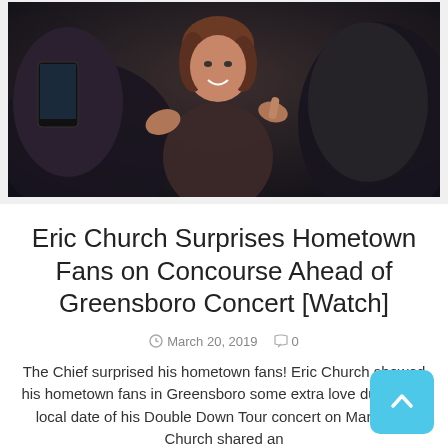[Figure (photo): Photo of people taking a selfie at a concert, crowd scene in dark lighting with a smiling woman in the center]
Eric Church Surprises Hometown Fans on Concourse Ahead of Greensboro Concert [Watch]
March 20, 2019  0
The Chief surprised his hometown fans! Eric Church showed his hometown fans in Greensboro some extra love during the local date of his Double Down Tour concert on March 15. Church shared an